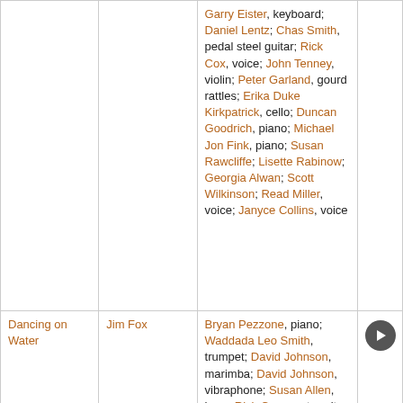| Title | Composer | Performers | Play |
| --- | --- | --- | --- |
|  |  | Garry Eister, keyboard; Daniel Lentz; Chas Smith, pedal steel guitar; Rick Cox, voice; John Tenney, violin; Peter Garland, gourd rattles; Erika Duke Kirkpatrick, cello; Duncan Goodrich, piano; Michael Jon Fink, piano; Susan Rawcliffe; Lisette Rabinow; Georgia Alwan; Scott Wilkinson; Read Miller, voice; Janyce Collins, voice |  |
| Dancing on Water | Jim Fox | Bryan Pezzone, piano; Waddada Leo Smith, trumpet; David Johnson, marimba; David Johnson, vibraphone; Susan Allen, harp; Rick Cox, contra-alto clarinet; Marty Walker, clarinet; Marty Walker, bass clarinet... | play |